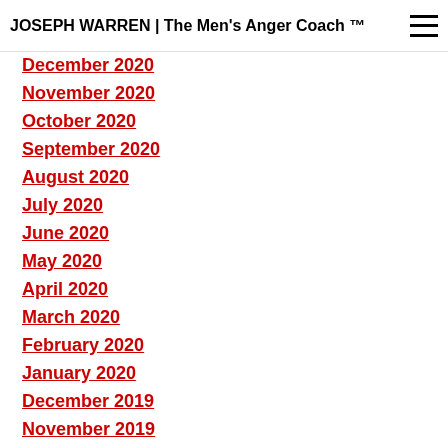JOSEPH WARREN | The Men's Anger Coach ™
December 2020
November 2020
October 2020
September 2020
August 2020
July 2020
June 2020
May 2020
April 2020
March 2020
February 2020
January 2020
December 2019
November 2019
October 2019
September 2019